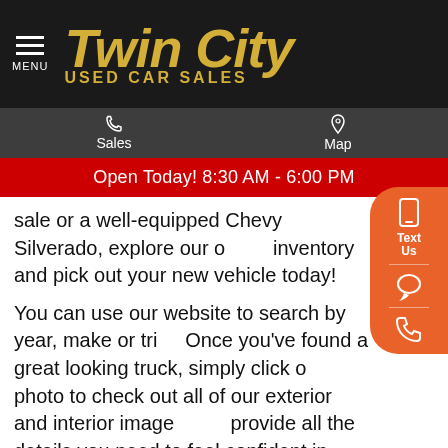Twin City Used Car Sales
Sales | Map
Open Today! 8:30 AM - 6:00 PM
sale or a well-equipped Chevy Silverado, explore our online inventory and pick out your new vehicle today!
You can use our website to search by year, make or trim. Once you've found a great looking truck, simply click on the photo to check out all of our exterior and interior images. We provide all the details you need to feel confident in your decision. And when you've found the ride you want to buy, you can even value your trade right online without ever leaving your home. That's the kind of service our Rainsville, AL neighbors can expect at Twin City Used C…
As your late-model used truck dealership of choice, you can